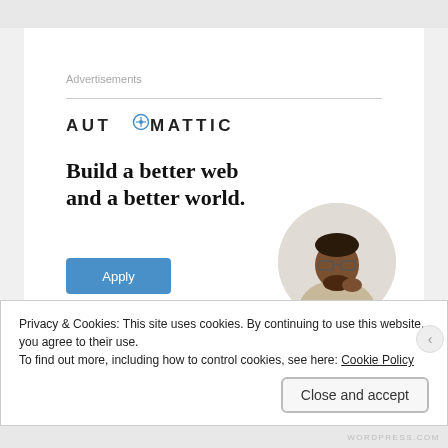Advertisements
[Figure (logo): Automattic logo — company name in bold spaced capitals with a compass/target icon replacing the 'O' in AUTOMATTIC]
Build a better web and a better world.
[Figure (illustration): Round circle-cropped photo of a Black man with glasses in a beige shirt, resting his hand near his chin, looking upward]
Apply
Privacy & Cookies: This site uses cookies. By continuing to use this website, you agree to their use.
To find out more, including how to control cookies, see here: Cookie Policy
Close and accept
WORDPRESS.COM